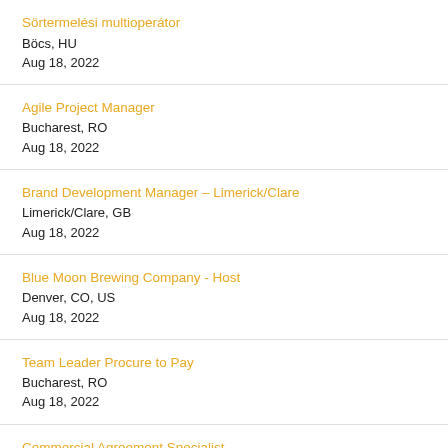Sörtermelési multioperátor
Böcs, HU
Aug 18, 2022
Agile Project Manager
Bucharest, RO
Aug 18, 2022
Brand Development Manager – Limerick/Clare
Limerick/Clare, GB
Aug 18, 2022
Blue Moon Brewing Company - Host
Denver, CO, US
Aug 18, 2022
Team Leader Procure to Pay
Bucharest, RO
Aug 18, 2022
Commercial Agreement Specialist
Sofia, 22, BG
Aug 18, 2022